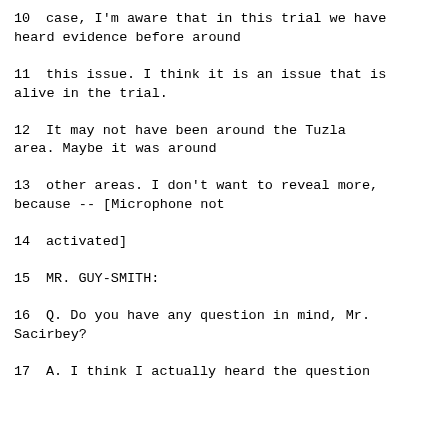10    case, I'm aware that in this trial we have heard evidence before around
11    this issue.  I think it is an issue that is alive in the trial.
12         It may not have been around the Tuzla area.  Maybe it was around
13    other areas.  I don't want to reveal more, because -- [Microphone not
14    activated]
15              MR. GUY-SMITH:
16       Q.   Do you have any question in mind, Mr. Sacirbey?
17       A.   I think I actually heard the question